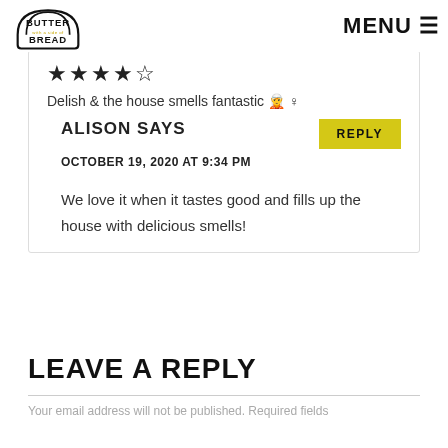BUTTER with a side of BREAD | MENU ☰
★★★★★
Delish & the house smells fantastic 🧝 ♀
ALISON SAYS
OCTOBER 19, 2020 AT 9:34 PM
We love it when it tastes good and fills up the house with delicious smells!
LEAVE A REPLY
Your email address will not be published. Required fields